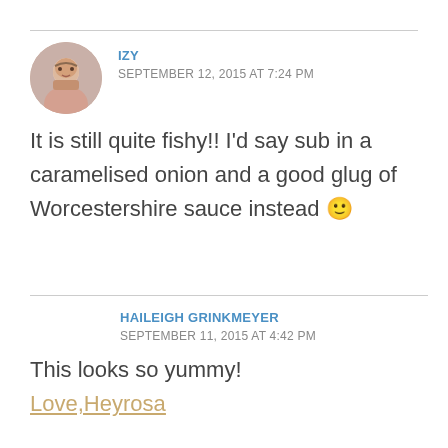IZY
SEPTEMBER 12, 2015 AT 7:24 PM
It is still quite fishy!! I'd say sub in a caramelised onion and a good glug of Worcestershire sauce instead 🙂
HAILEIGH GRINKMEYER
SEPTEMBER 11, 2015 AT 4:42 PM
This looks so yummy!
Love,Heyrosa